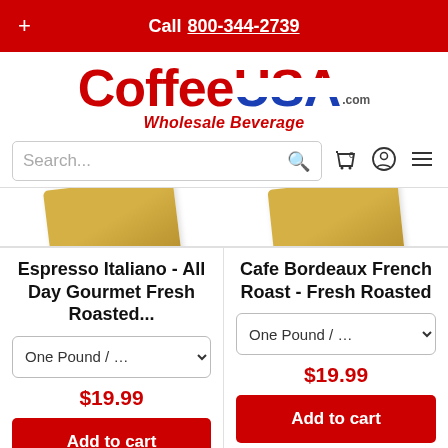+ Call 800-344-2739
[Figure (logo): CoffeeUSA.com Wholesale Beverage logo with red 'Coffee' text and USA flag-styled 'USA' text]
Search...
[Figure (photo): Two product coffee bags partially visible at top]
Espresso Italiano - All Day Gourmet Fresh Roasted...
One Pound / ...
$19.99
Add to cart
Cafe Bordeaux French Roast - Fresh Roasted
One Pound / ...
$19.99
Add to cart